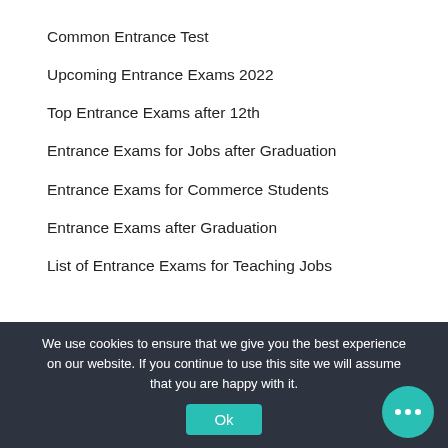Common Entrance Test
Upcoming Entrance Exams 2022
Top Entrance Exams after 12th
Entrance Exams for Jobs after Graduation
Entrance Exams for Commerce Students
Entrance Exams after Graduation
List of Entrance Exams for Teaching Jobs
We use cookies to ensure that we give you the best experience on our website. If you continue to use this site we will assume that you are happy with it.
Ok